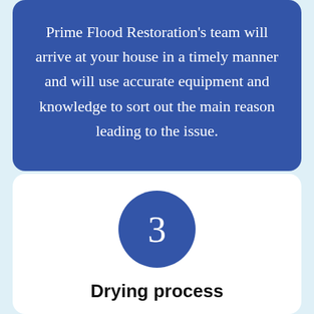Prime Flood Restoration's team will arrive at your house in a timely manner and will use accurate equipment and knowledge to sort out the main reason leading to the issue.
[Figure (infographic): A dark blue circle containing the number 3, representing step 3 in a process.]
Drying process
As soon as the root cause is taken care of Prime